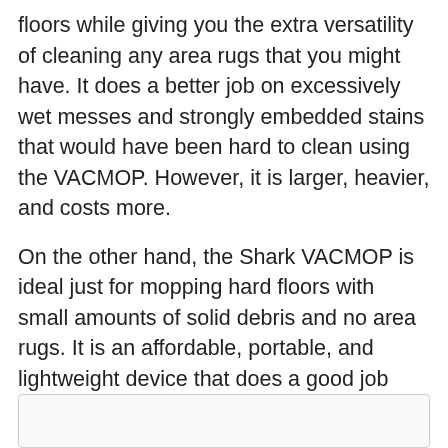floors while giving you the extra versatility of cleaning any area rugs that you might have. It does a better job on excessively wet messes and strongly embedded stains that would have been hard to clean using the VACMOP. However, it is larger, heavier, and costs more.
On the other hand, the Shark VACMOP is ideal just for mopping hard floors with small amounts of solid debris and no area rugs. It is an affordable, portable, and lightweight device that does a good job mopping away mud, liquid spills, and dried-up stains from hard floors.